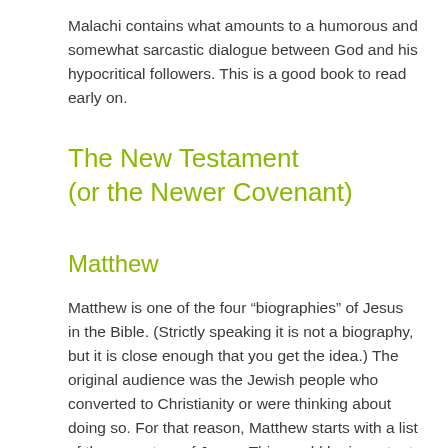Malachi contains what amounts to a humorous and somewhat sarcastic dialogue between God and his hypocritical followers. This is a good book to read early on.
The New Testament (or the Newer Covenant)
Matthew
Matthew is one of the four “biographies” of Jesus in the Bible. (Strictly speaking it is not a biography, but it is close enough that you get the idea.) The original audience was the Jewish people who converted to Christianity or were thinking about doing so. For that reason, Matthew starts with a list of the ancestors of Jesus. This would be important to a Jewish audience, since Old Testament prophecies required Jesus to have a specific parentage. This explains how Jesus